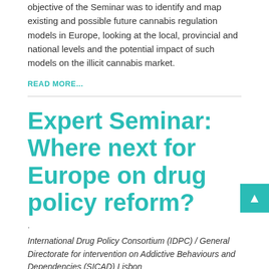objective of the Seminar was to identify and map existing and possible future cannabis regulation models in Europe, looking at the local, provincial and national levels and the potential impact of such models on the illicit cannabis market.
READ MORE...
Expert Seminar: Where next for Europe on drug policy reform?
.
International Drug Policy Consortium (IDPC) / General Directorate for intervention on Addictive Behaviours and Dependencies (SICAD) Lisbon
June 20-21, 2013
The expert seminar "Where next for Europe on drug policy reform?"